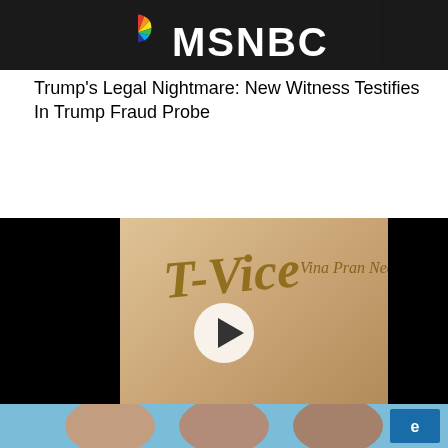[Figure (screenshot): MSNBC logo and news broadcast screenshot showing peacock logo and MSNBC text]
Trump's Legal Nightmare: New Witness Testifies In Trump Fraud Probe
[Figure (screenshot): T-Vice music video thumbnail showing two young men with T-Vice script logo and Vina Pran Nee text, with a play button overlay. Black bars on left and right sides.]
T-Vice - A-zéro
[Figure (screenshot): Television panel show screenshot with three people visible against a blue/purple background, with a channel logo in the corner]